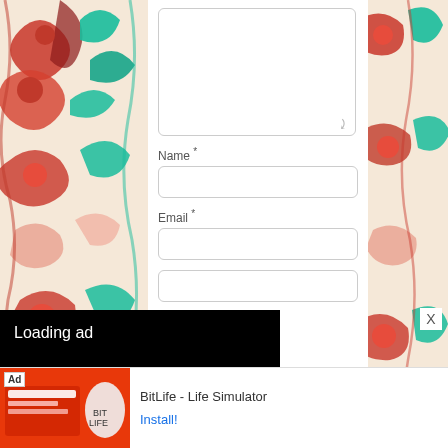[Figure (illustration): Decorative floral pattern on left side with red, teal/cyan and pink flowers and swirling vines on cream background]
Name *
Email *
[Figure (screenshot): Video ad player overlay showing 'Loading ad' text, a loading spinner circle, and video controls (pause, expand, mute) on black background]
X
[Figure (illustration): Decorative floral pattern on right side with red, teal/cyan and pink flowers and swirling vines on cream background]
[Figure (screenshot): Bottom advertisement banner with red background image showing 'Ad' label and BitLife - Life Simulator game ad with Install button]